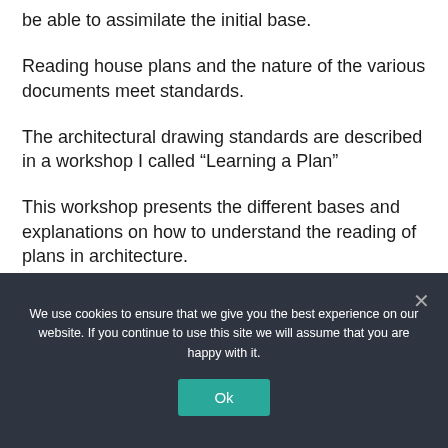be able to assimilate the initial base.
Reading house plans and the nature of the various documents meet standards.
The architectural drawing standards are described in a workshop I called “Learning a Plan”
This workshop presents the different bases and explanations on how to understand the reading of plans in architecture.
We use cookies to ensure that we give you the best experience on our website. If you continue to use this site we will assume that you are happy with it.